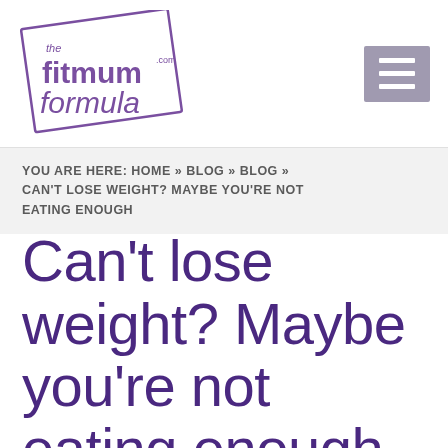[Figure (logo): The Fit Mum Formula logo in purple with a tilted rectangle border]
YOU ARE HERE: HOME » BLOG » BLOG » CAN'T LOSE WEIGHT? MAYBE YOU'RE NOT EATING ENOUGH
Can't lose weight? Maybe you're not eating enough
September 18, 2017